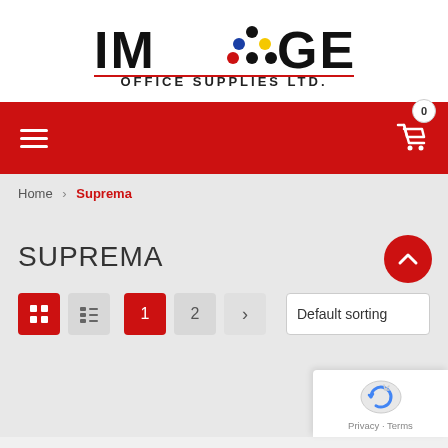[Figure (logo): IMAGE Office Supplies Ltd. logo with colored dots forming the letter A in IMAGE]
[Figure (screenshot): Red navigation bar with hamburger menu icon on left and shopping cart with 0 badge on right]
Home > Suprema
SUPREMA
Grid view and list view toggle buttons, page navigation buttons (1, 2, >), Default sorting dropdown